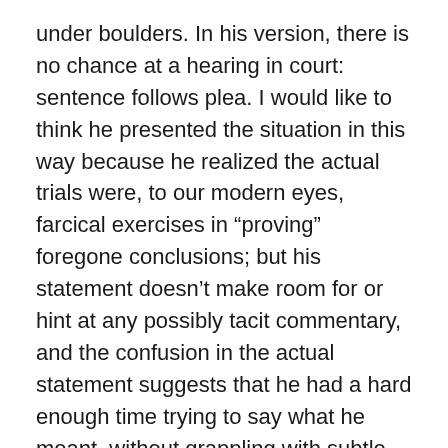under boulders. In his version, there is no chance at a hearing in court: sentence follows plea. I would like to think he presented the situation in this way because he realized the actual trials were, to our modern eyes, farcical exercises in “proving” foregone conclusions; but his statement doesn’t make room for or hint at any possibly tacit commentary, and the confusion in the actual statement suggests that he had a hard enough time trying to say what he meant, without grappling with subtle implications.
Well, the arc of the universe bends SLOWLY towards justice. Seeing clearly what has been done in the name of justice in the past, we should be inspired to try to bend the arc more quickly. It’s not there quite yet.